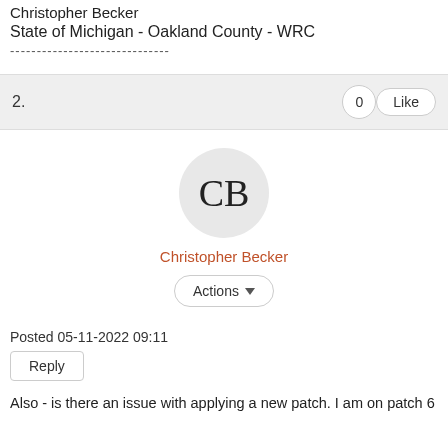Christopher Becker
State of Michigan - Oakland County - WRC
------------------------------
2.   0  Like
[Figure (illustration): Avatar circle with initials CB for user Christopher Becker]
Christopher Becker
Actions ▾
Posted 05-11-2022 09:11
Reply
Also - is there an issue with applying a new patch. I am on patch 6